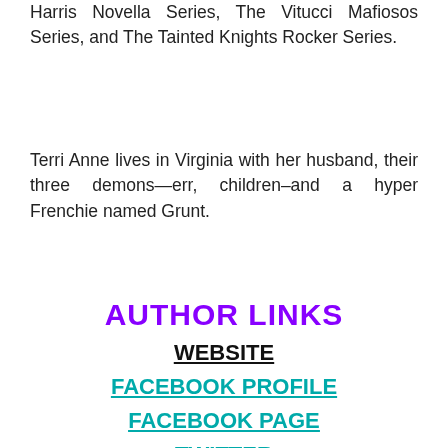Harris Novella Series, The Vitucci Mafiosos Series, and The Tainted Knights Rocker Series.
Terri Anne lives in Virginia with her husband, their three demons—err, children–and a hyper Frenchie named Grunt.
AUTHOR LINKS
WEBSITE
FACEBOOK PROFILE
FACEBOOK PAGE
TWITTER